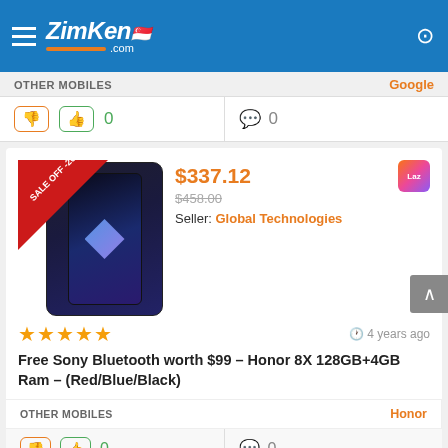[Figure (screenshot): ZimKen.com website header with hamburger menu, logo, Singapore flag, and search icon on blue background]
OTHER MOBILES
Google
[Figure (other): Interaction bar with thumbs down, thumbs up icons showing 0 likes, and comment icon showing 0 comments]
[Figure (photo): Honor 8X smartphone product image with red SALE OFF -26% banner]
$337.12
$458.00
Seller: Global Technologies
4 years ago
Free Sony Bluetooth worth $99 – Honor 8X 128GB+4GB Ram – (Red/Blue/Black)
OTHER MOBILES
Honor
[Figure (other): Interaction bar with thumbs down, thumbs up icons showing 0 likes, and comment icon showing 0 comments]
[Figure (photo): Partial product card at bottom of page with red sale banner]